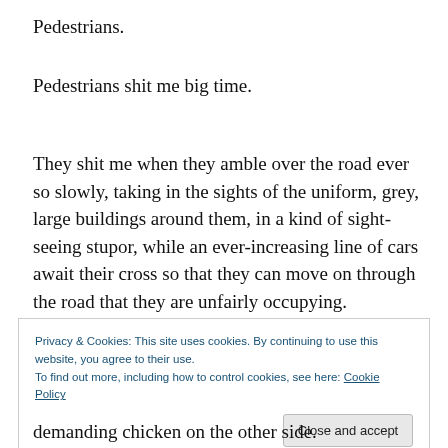Pedestrians.
Pedestrians shit me big time.
They shit me when they amble over the road ever so slowly, taking in the sights of the uniform, grey, large buildings around them, in a kind of sight-seeing stupor, while an ever-increasing line of cars await their cross so that they can move on through the road that they are unfairly occupying.
Privacy & Cookies: This site uses cookies. By continuing to use this website, you agree to their use.
To find out more, including how to control cookies, see here: Cookie Policy
Close and accept
demanding chicken on the other side.